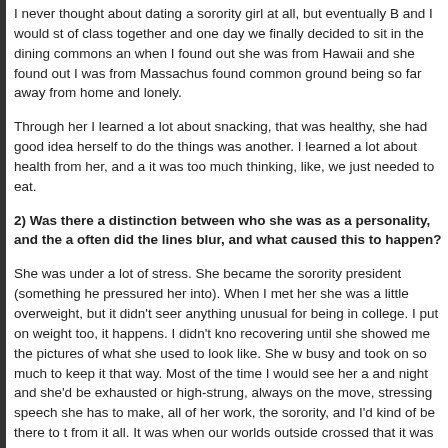I never thought about dating a sorority girl at all, but eventually B and I would st of class together and one day we finally decided to sit in the dining commons an when I found out she was from Hawaii and she found out I was from Massachus found common ground being so far away from home and lonely.
Through her I learned a lot about snacking, that was healthy, she had good idea herself to do the things was another. I learned a lot about health from her, and a it was too much thinking, like, we just needed to eat.
2) Was there a distinction between who she was as a personality, and the a often did the lines blur, and what caused this to happen?
She was under a lot of stress. She became the sorority president (something he pressured her into). When I met her she was a little overweight, but it didn't seer anything unusual for being in college. I put on weight too, it happens. I didn't kno recovering until she showed me the pictures of what she used to look like. She w busy and took on so much to keep it that way. Most of the time I would see her a and night and she'd be exhausted or high-strung, always on the move, stressing speech she has to make, all of her work, the sorority, and I'd kind of be there to t from it all. It was when our worlds outside crossed that it was no fun.
3) What was her behaviour like when with you? Did you live together, and t zone"? Were there any particular routines or habits she had, which affecte behaviour (overly or subconsciously.)
She was a very picky eater, so when I realized that she wasn't eating that much talk about it. Being home more than her I would cook meals for her, always kee